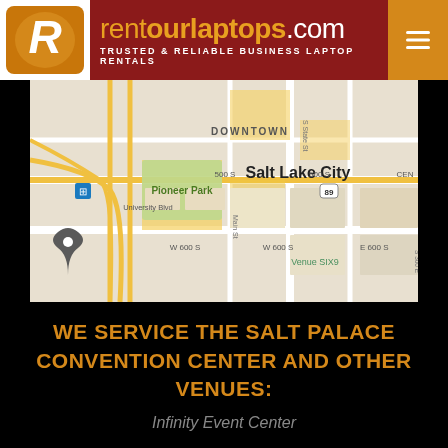rentourlaptops.com — TRUSTED & RELIABLE BUSINESS LAPTOP RENTALS
[Figure (map): Google Maps view of downtown Salt Lake City area showing Pioneer Park, University Blvd, Salt Lake City label, 500 S, W 600 S, E 600 S, S State St, Main St, and Venue SIX9. A location pin appears at lower left.]
WE SERVICE THE SALT PALACE CONVENTION CENTER AND OTHER VENUES:
Infinity Event Center